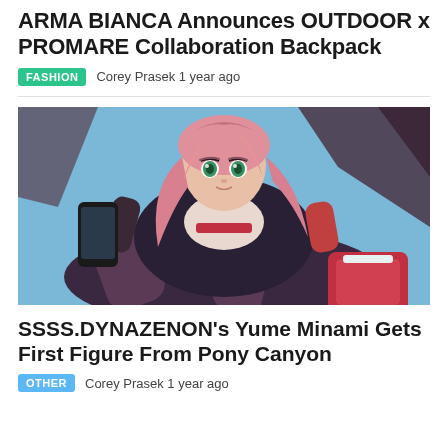ARMA BIANCA Announces OUTDOOR x PROMARE Collaboration Backpack
FASHION   Corey Prasek 1 year ago
[Figure (photo): Anime figure of Yume Minami from SSSS.DYNAZENON, a pink-haired girl in dark jacket holding a phone, with a red bag, photographed against a blue sky background.]
SSSS.DYNAZENON's Yume Minami Gets First Figure From Pony Canyon
OTHER   Corey Prasek 1 year ago